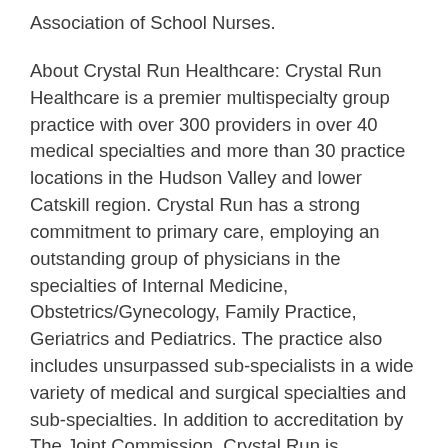Association of School Nurses.
About Crystal Run Healthcare: Crystal Run Healthcare is a premier multispecialty group practice with over 300 providers in over 40 medical specialties and more than 30 practice locations in the Hudson Valley and lower Catskill region. Crystal Run has a strong commitment to primary care, employing an outstanding group of physicians in the specialties of Internal Medicine, Obstetrics/Gynecology, Family Practice, Geriatrics and Pediatrics. The practice also includes unsurpassed sub-specialists in a wide variety of medical and surgical specialties and sub-specialties. In addition to accreditation by The Joint Commission, Crystal Run is designated by the National Committee for Quality Assurance (NCQA) as a Level 3 Patient Centered-Medical Home. The practice is among the first 27 health care organizations in the nation to participate as an Accountable Care Organization (ACO) in the Medicare Shared Savings Program (MSSP). Crystal Run Healthcare